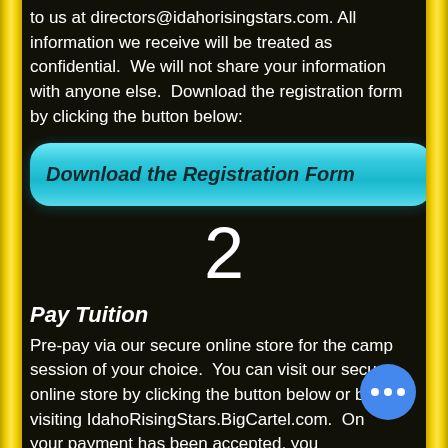to us at directors@idahorisingstars.com. All information we receive will be treated as confidential. We will not share your information with anyone else. Download the registration form by clicking the button below:
[Figure (other): Teal/cyan rounded button labeled 'Download the Registration Form' in italic bold dark text]
2
Pay Tuition
Pre-pay via our secure online store for the camp session of your choice. You can visit our secure online store by clicking the button below or by visiting IdahoRisingStars.BigCartel.com. Once your payment has been accepted, you